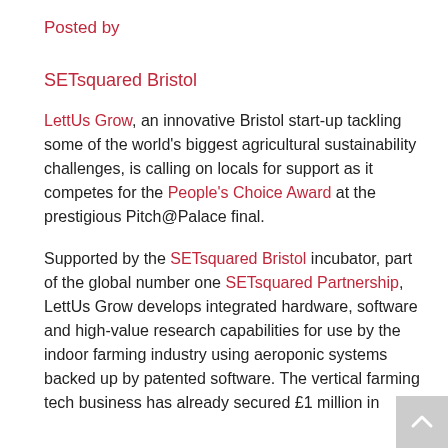Posted by
SETsquared Bristol
LettUs Grow, an innovative Bristol start-up tackling some of the world's biggest agricultural sustainability challenges, is calling on locals for support as it competes for the People's Choice Award at the prestigious Pitch@Palace final.
Supported by the SETsquared Bristol incubator, part of the global number one SETsquared Partnership, LettUs Grow develops integrated hardware, software and high-value research capabilities for use by the indoor farming industry using aeroponic systems backed up by patented software. The vertical farming tech business has already secured £1 million in